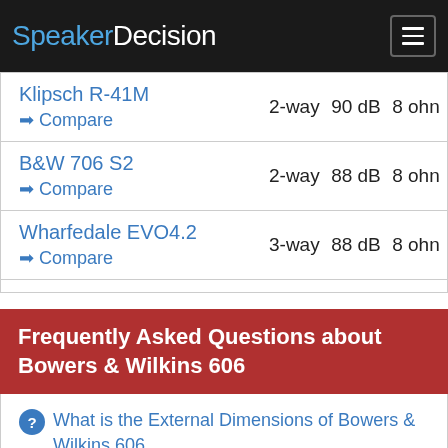SpeakerDecision
| Product | Type | Sensitivity | Impedance |
| --- | --- | --- | --- |
| Klipsch R-41M | 2-way | 90 dB | 8 ohm |
| B&W 706 S2 | 2-way | 88 dB | 8 ohm |
| Wharfedale EVO4.2 | 3-way | 88 dB | 8 ohm |
Frequently Asked Questions about Bowers & Wilkins 606
What is the External Dimensions of Bowers & Wilkins 606